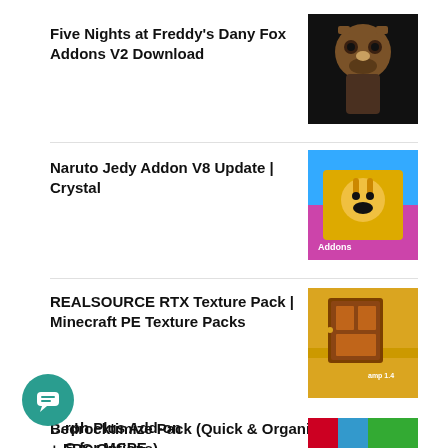Five Nights at Freddy's Dany Fox Addons V2 Download
[Figure (photo): Dark thumbnail showing Freddy Fazbear animatronic bear character]
Naruto Jedy Addon V8 Update | Crystal
[Figure (photo): Colorful Minecraft addon thumbnail with yellow character and blue/purple background]
REALSOURCE RTX Texture Pack | Minecraft PE Texture Packs
[Figure (photo): Minecraft RTX texture pack thumbnail showing wooden door on sandy ground]
Bedrocktimize Pack (Quick & Organized Settings + FPS Options)
[Figure (photo): Minecraft settings screenshot thumbnail with dark blue background]
1
…rph Plus Add-on …S for MCPE
[Figure (photo): Colorful MCPE addon thumbnail with red and blue pixel art characters]